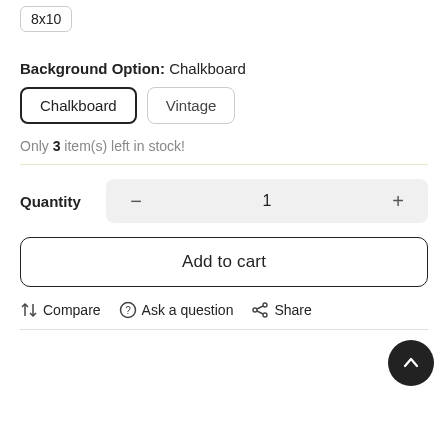8x10
Background Option: Chalkboard
Chalkboard | Vintage
Only 3 item(s) left in stock!
Quantity  −  1  +
Add to cart
Compare  Ask a question  Share